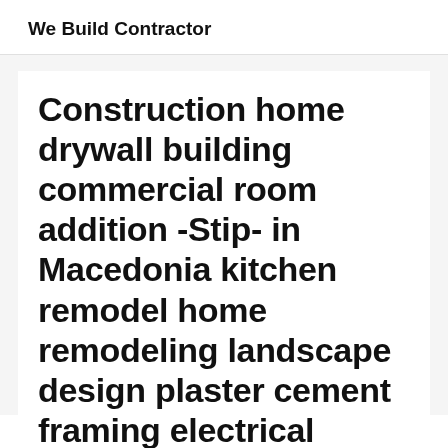We Build Contractor
Construction home drywall building commercial room addition -Stip- in Macedonia kitchen remodel home remodeling landscape design plaster cement framing electrical plumbing contractor glass earthship design
Remodeling & Construction, home renovation, home...